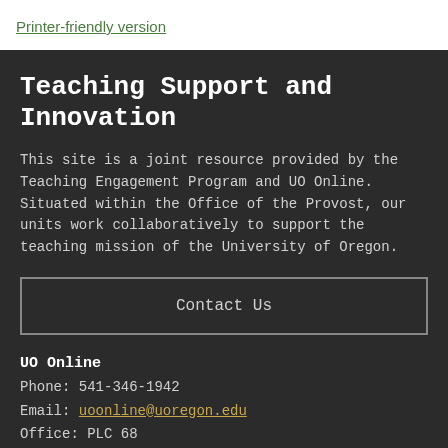Printer-friendly version
Teaching Support and Innovation
This site is a joint resource provided by the Teaching Engagement Program and UO Online. Situated within the Office of the Provost, our units work collaboratively to support the teaching mission of the University of Oregon.
Contact Us
UO Online
Phone: 541-346-1942
Email: uoonline@uoregon.edu
Office: PLC 68